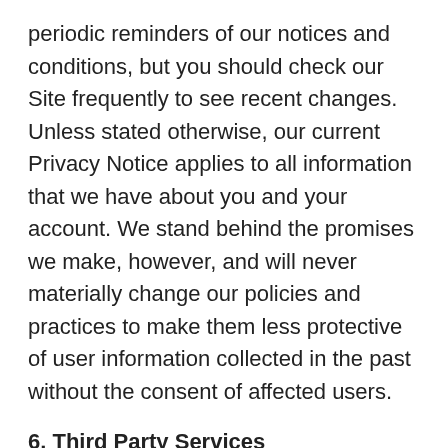periodic reminders of our notices and conditions, but you should check our Site frequently to see recent changes. Unless stated otherwise, our current Privacy Notice applies to all information that we have about you and your account. We stand behind the promises we make, however, and will never materially change our policies and practices to make them less protective of user information collected in the past without the consent of affected users.
6. Third Party Services
We may use Plaid, Inc. (“Plaid”) to connect your Field Agent account with your bank account and to verify your bank account information. Information shared